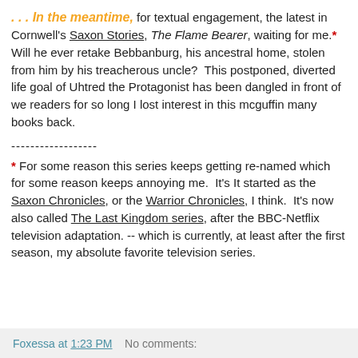. . . In the meantime, for textual engagement, the latest in Cornwell's Saxon Stories, The Flame Bearer, waiting for me.* Will he ever retake Bebbanburg, his ancestral home, stolen from him by his treacherous uncle?  This postponed, diverted life goal of Uhtred the Protagonist has been dangled in front of we readers for so long I lost interest in this mcguffin many books back.
------------------
* For some reason this series keeps getting re-named which for some reason keeps annoying me.  It's It started as the Saxon Chronicles, or the Warrior Chronicles, I think.  It's now also called The Last Kingdom series, after the BBC-Netflix television adaptation. -- which is currently, at least after the first season, my absolute favorite television series.
Foxessa at 1:23 PM    No comments: